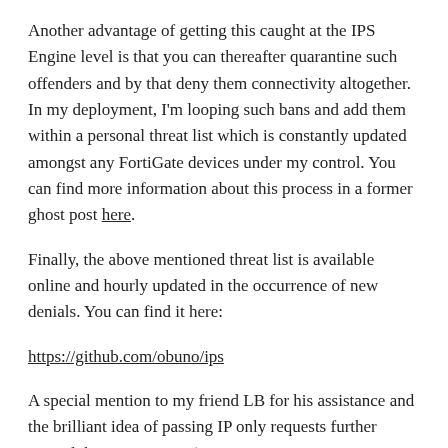Another advantage of getting this caught at the IPS Engine level is that you can thereafter quarantine such offenders and by that deny them connectivity altogether. In my deployment, I'm looping such bans and add them within a personal threat list which is constantly updated amongst any FortiGate devices under my control. You can find more information about this process in a former ghost post here.
Finally, the above mentioned threat list is available online and hourly updated in the occurrence of new denials. You can find it here:
https://github.com/obuno/ips
A special mention to my friend LB for his assistance and the brilliant idea of passing IP only requests further toward the IPS Engine =)